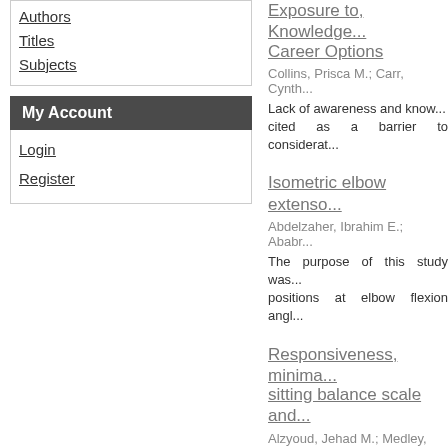Authors
Titles
Subjects
My Account
Login
Register
Exposure to, Knowledge...Career Options
Collins, Prisca M.; Carr, Cynth...
Lack of awareness and know... cited as a barrier to considerat...
Isometric elbow extenso...
Abdelzaher, Ibrahim E.; Ababr...
The purpose of this study was... positions at elbow flexion angl...
Responsiveness, minima... sitting balance scale and...
Alzyoud, Jehad M.; Medley, Ar...
Background: Limited studies h... Sitting Test (FIST). No studies...
The risk factors of CVA i...
Auais, Mohammad A.; Alzyoud...
This study aimed to identify th... factors may help to reduce th...